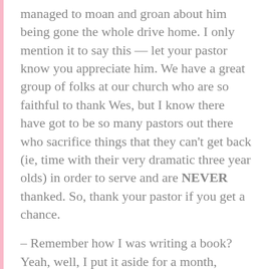managed to moan and groan about him being gone the whole drive home. I only mention it to say this — let your pastor know you appreciate him. We have a great group of folks at our church who are so faithful to thank Wes, but I know there have got to be so many pastors out there who sacrifice things that they can't get back (ie, time with their very dramatic three year olds) in order to serve and are NEVER thanked. So, thank your pastor if you get a chance.
– Remember how I was writing a book? Yeah, well, I put it aside for a month, thinking that it was complete garbage and that it would never work itself all out. Today, on a whim, I decided to get back into it and just read what I had written. There was too much to read in one day, but what I did read left me with one thought. (Drum roll!) It's not half bad. It's not Pulitzer material and likely not even worth publishing, but it wasn't garbage. And if that's not a glowing recommendation, I don't know what is. I'm going to start working on it again and might even (gasp!) let someone